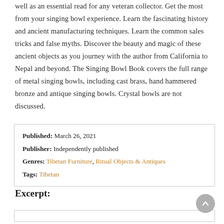well as an essential read for any veteran collector. Get the most from your singing bowl experience. Learn the fascinating history and ancient manufacturing techniques. Learn the common sales tricks and false myths. Discover the beauty and magic of these ancient objects as you journey with the author from California to Nepal and beyond. The Singing Bowl Book covers the full range of metal singing bowls, including cast brass, hand hammered bronze and antique singing bowls. Crystal bowls are not discussed.
| Published: | March 26, 2021 |
| Publisher: | Independently published |
| Genres: | Tibetan Furniture, Ritual Objects & Antiques |
| Tags: | Tibetan |
Excerpt: